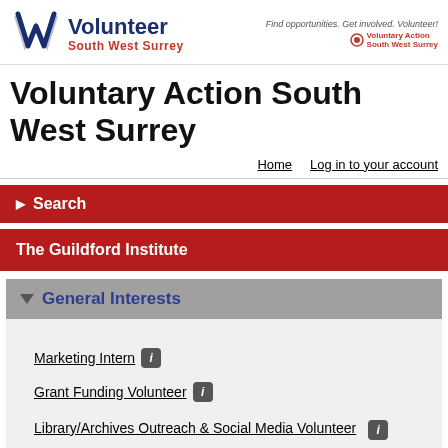[Figure (logo): Volunteer South West Surrey logo with blue W-shape icon, blue 'Volunteer' text, red 'South West Surrey' text, and tagline 'Find opportunities. Get involved. Volunteer!' with Voluntary Action South West Surrey badge]
Voluntary Action South West Surrey
Home   Log in to your account
Search
The Guildford Institute
General Interests
Marketing Intern
Grant Funding Volunteer
Library/Archives Outreach & Social Media Volunteer